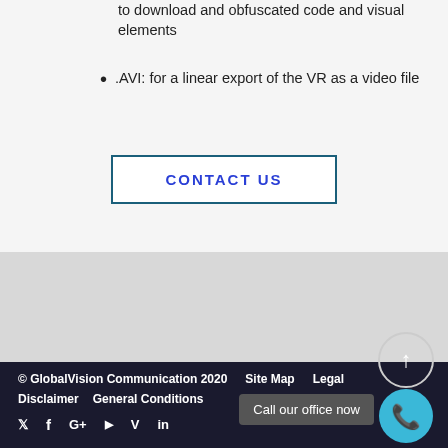to download and obfuscated code and visual elements
.AVI: for a linear export of the VR as a video file
CONTACT US
© GlobalVision Communication 2020   Site Map   Legal   Disclaimer   General Conditions   Call our office now